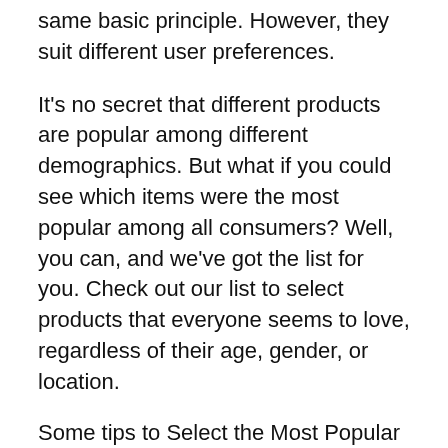same basic principle. However, they suit different user preferences.
It's no secret that different products are popular among different demographics. But what if you could see which items were the most popular among all consumers? Well, you can, and we've got the list for you. Check out our list to select products that everyone seems to love, regardless of their age, gender, or location.
Some tips to Select the Most Popular vegetarian diet to lose belly fat
The three most important factors to consider when selecting the most popular products are price, quality, and